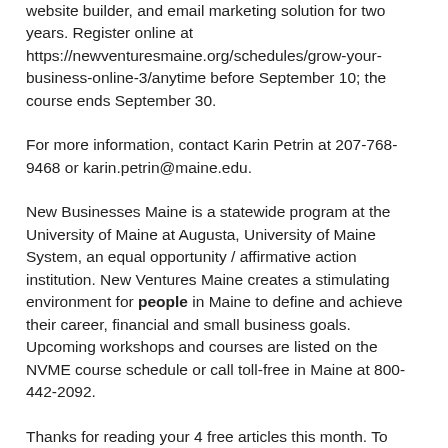website builder, and email marketing solution for two years. Register online at https://newventuresmaine.org/schedules/grow-your-business-online-3/anytime before September 10; the course ends September 30.
For more information, contact Karin Petrin at 207-768-9468 or karin.petrin@maine.edu.
New Businesses Maine is a statewide program at the University of Maine at Augusta, University of Maine System, an equal opportunity / affirmative action institution. New Ventures Maine creates a stimulating environment for people in Maine to define and achieve their career, financial and small business goals. Upcoming workshops and courses are listed on the NVME course schedule or call toll-free in Maine at 800-442-2092.
Thanks for reading your 4 free articles this month. To continue reading and supporting local and rural journalism, please